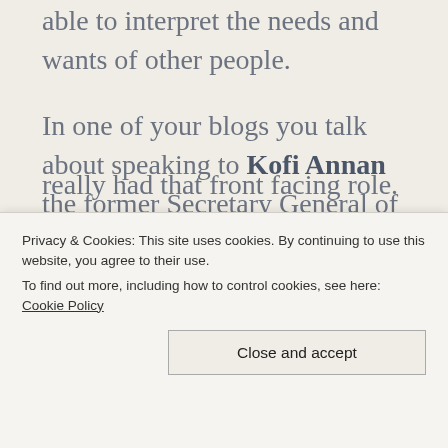able to interpret the needs and wants of other people.
In one of your blogs you talk about speaking to Kofi Annan the former Secretary General of the United Nations and you asked him about the threats to mankind. He said to you the one thing which we need to build to stop mankind being threatened is empathy. I agree. How do you build that sense of empathy?
Privacy & Cookies: This site uses cookies. By continuing to use this website, you agree to their use.
To find out more, including how to control cookies, see here: Cookie Policy
really had that front facing role. How do